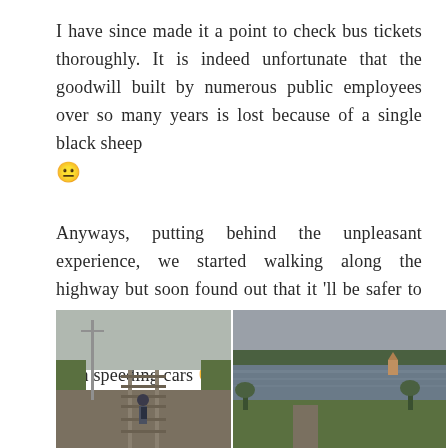I have since made it a point to check bus tickets thoroughly. It is indeed unfortunate that the goodwill built by numerous public employees over so many years is lost because of a single black sheep 😐
Anyways, putting behind the unpleasant experience, we started walking along the highway but soon found out that it 'll be safer to walk along the very rarely used Karjat-Panvel railway corridor instead of the road, swarming with speeding cars 😛
[Figure (photo): Two photos side by side: left photo shows a person with a backpack walking along railway tracks in a rural/green area with utility poles; right photo shows a reservoir or lake surrounded by green fields and trees under an overcast sky, with what appears to be a small structure or temple in the background.]